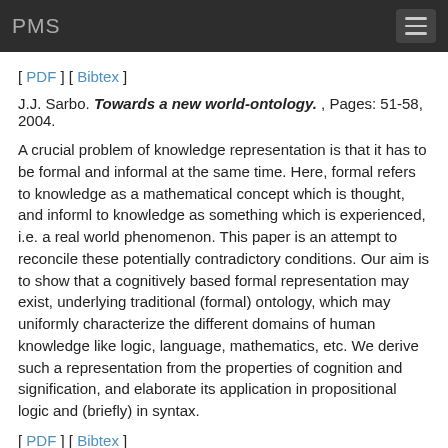PMS
[ PDF ] [ Bibtex ]
J.J. Sarbo. Towards a new world-ontology. , Pages: 51-58, 2004.
A crucial problem of knowledge representation is that it has to be formal and informal at the same time. Here, formal refers to knowledge as a mathematical concept which is thought, and informl to knowledge as something which is experienced, i.e. a real world phenomenon. This paper is an attempt to reconcile these potentially contradictory conditions. Our aim is to show that a cognitively based formal representation may exist, underlying traditional (formal) ontology, which may uniformly characterize the different domains of human knowledge like logic, language, mathematics, etc. We derive such a representation from the properties of cognition and signification, and elaborate its application in propositional logic and (briefly) in syntax.
[ PDF ] [ Bibtex ]
J.J. Sarbo, and J.I. Farkas. Towards a Theory of Meaning Extraction. , Edited by: H.D. Pfeiffer, H. Delugach, and K.E. Wolff. Pages: 55-68, Shaker Verlag, Darmstadt, Germany, EU, 2004.